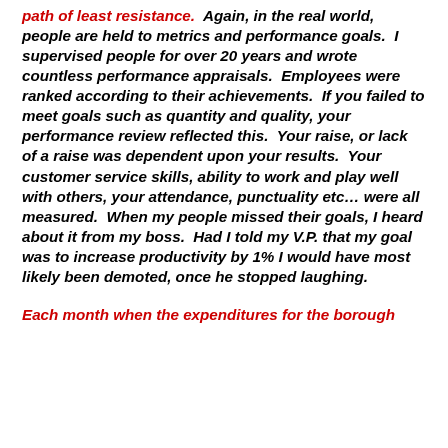path of least resistance.  Again, in the real world, people are held to metrics and performance goals.  I supervised people for over 20 years and wrote countless performance appraisals.  Employees were ranked according to their achievements.  If you failed to meet goals such as quantity and quality, your performance review reflected this.  Your raise, or lack of a raise was dependent upon your results.  Your customer service skills, ability to work and play well with others, your attendance, punctuality etc… were all measured.  When my people missed their goals, I heard about it from my boss.  Had I told my V.P. that my goal was to increase productivity by 1% I would have most likely been demoted, once he stopped laughing.
Each month when the expenditures for the borough